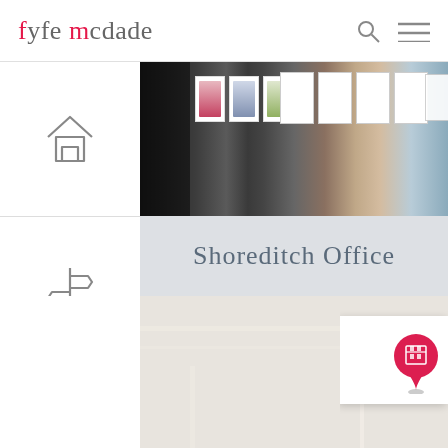fyfe mcdade
[Figure (screenshot): Website screenshot showing Fyfe McDade estate agent page with Shoreditch Office section, navigation sidebar with home and signpost icons, photo strip of shopfront, section header 'Shoreditch Office', and a map with location pin]
Shoreditch Office